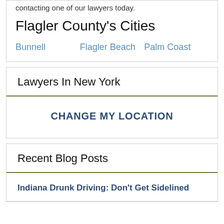contacting one of our lawyers today.
Flagler County's Cities
Bunnell
Flagler Beach
Palm Coast
Lawyers In New York
CHANGE MY LOCATION
Recent Blog Posts
Indiana Drunk Driving: Don't Get Sidelined